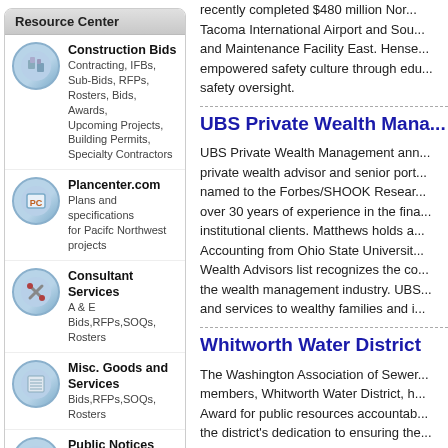Resource Center
Construction Bids - Contracting, IFBs, Sub-Bids, RFPs, Rosters, Bids, Awards, Upcoming Projects, Building Permits, Specialty Contractors
Plancenter.com - Plans and specifications for Pacifc Northwest projects
Consultant Services - A & E Bids,RFPs,SOQs, Rosters
Misc. Goods and Services - Bids,RFPs,SOQs, Rosters
Public Notices - Legal Notices, Government Notices, City Notices
Firm Directory - The Northwest's top Consultants and Contractors
Building Permits
recently completed $480 million Nor... Tacoma International Airport and Sou... and Maintenance Facility East. Hense... empowered safety culture through edu... safety oversight.
UBS Private Wealth Mana...
UBS Private Wealth Management ann... private wealth advisor and senior port... named to the Forbes/SHOOK Resear... over 30 years of experience in the fina... institutional clients. Matthews holds a... Accounting from Ohio State Universit... Wealth Advisors list recognizes the co... the wealth management industry. UBS... and services to wealthy families and i...
Whitworth Water District
The Washington Association of Sewer... members, Whitworth Water District, h... Award for public resources accountab... the district's dedication to ensuring the... first remotely conducted audits during...